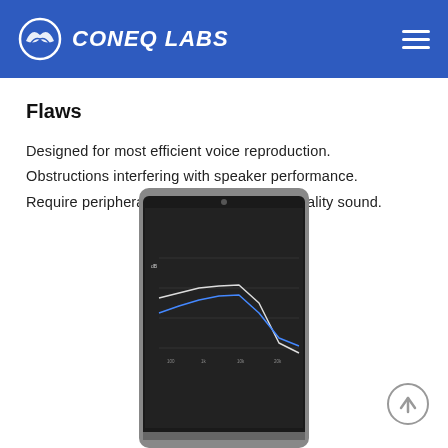CONEQ LABS
Flaws
Designed for most efficient voice reproduction.
Obstructions interfering with speaker performance.
Require peripheral playback devices for quality sound.
[Figure (photo): A tablet device shown in portrait orientation displaying a frequency response or audio measurement graph on its screen, with a dark background on the display showing colored waveform lines.]